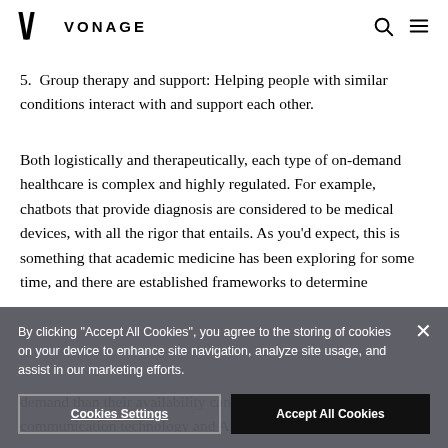VONAGE
5. Group therapy and support: Helping people with similar conditions interact with and support each other.
Both logistically and therapeutically, each type of on-demand healthcare is complex and highly regulated. For example, chatbots that provide diagnosis are considered to be medical devices, with all the rigor that entails. As you'd expect, this is something that academic medicine has been exploring for some time, and there are established frameworks to determine...
demand than their availability can supply; how can communication technology and AI medical services help...
By clicking "Accept All Cookies", you agree to the storing of cookies on your device to enhance site navigation, analyze site usage, and assist in our marketing efforts.